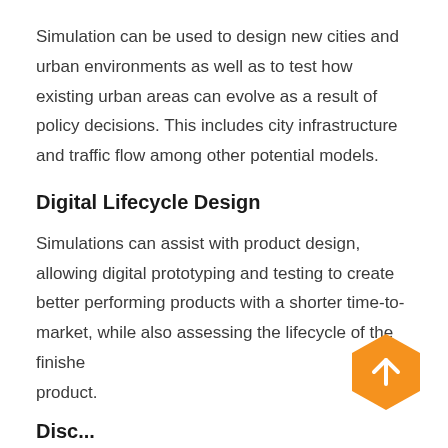Simulation can be used to design new cities and urban environments as well as to test how existing urban areas can evolve as a result of policy decisions. This includes city infrastructure and traffic flow among other potential models.
Digital Lifecycle Design
Simulations can assist with product design, allowing digital prototyping and testing to create better performing products with a shorter time-to-market, while also assessing the lifecycle of the finished product.
[Figure (illustration): Orange hexagon button with upward arrow icon, positioned at bottom right of page]
Disc...